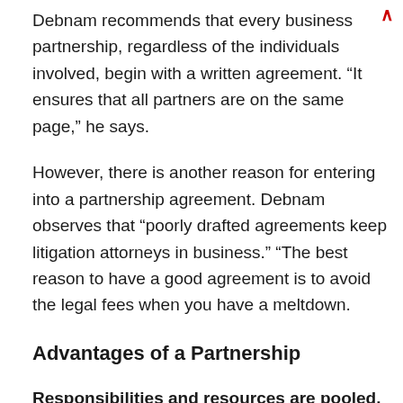Debnam recommends that every business partnership, regardless of the individuals involved, begin with a written agreement. “It ensures that all partners are on the same page,” he says.
However, there is another reason for entering into a partnership agreement. Debnam observes that “poorly drafted agreements keep litigation attorneys in business.” “The best reason to have a good agreement is to avoid the legal fees when you have a meltdown.
Advantages of a Partnership
Responsibilities and resources are pooled. Partners, unlike sole proprietors, can pool resources without seeking outside investors or incurring debt. They can also share day-to-day management and executive decision-making